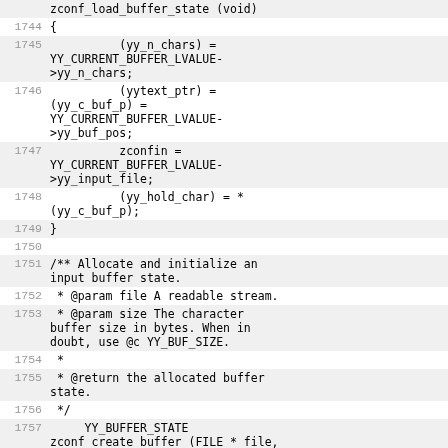zconf_load_buffer_state (void)
1744  {
1745      (yy_n_chars) = YY_CURRENT_BUFFER_LVALUE->yy_n_chars;
1746      (yytext_ptr) = (yy_c_buf_p) = YY_CURRENT_BUFFER_LVALUE->yy_buf_pos;
1747      zconfin = YY_CURRENT_BUFFER_LVALUE->yy_input_file;
1748      (yy_hold_char) = *(yy_c_buf_p);
1749  }
1750
1751  /** Allocate and initialize an input buffer state.
1752   * @param file A readable stream.
1753   * @param size The character buffer size in bytes. When in doubt, use @c YY_BUF_SIZE.
1754   *
1755   * @return the allocated buffer state.
1756   */
1757      YY_BUFFER_STATE zconf_create_buffer  (FILE * file, int  size )
1758  {